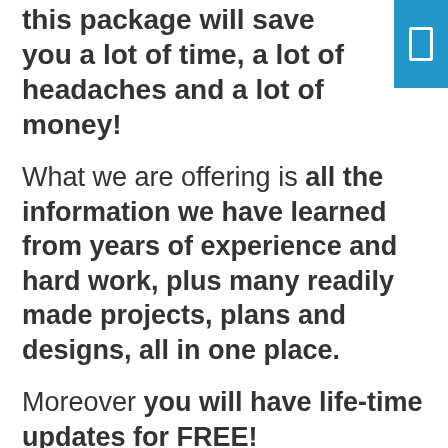this package will save you a lot of time, a lot of headaches and a lot of money!
What we are offering is all the information we have learned from years of experience and hard work, plus many readily made projects, plans and designs, all in one place.
Moreover you will have life-time updates for FREE!
When you start building your own container home, you will see that this package worths hundreds, even